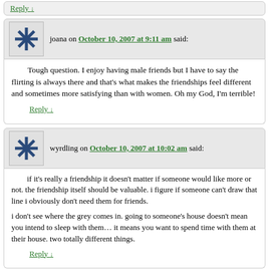Reply ↓
joana on October 10, 2007 at 9:11 am said:
Tough question. I enjoy having male friends but I have to say the flirting is always there and that's what makes the friendships feel different and sometimes more satisfying than with women. Oh my God, I'm terrible!
Reply ↓
wyrdling on October 10, 2007 at 10:02 am said:
if it's really a friendship it doesn't matter if someone would like more or not. the friendship itself should be valuable. i figure if someone can't draw that line i obviously don't need them for friends.

i don't see where the grey comes in. going to someone's house doesn't mean you intend to sleep with them… it means you want to spend time with them at their house. two totally different things.
Reply ↓
CJK on October 10, 2007 at 10:28 am said: